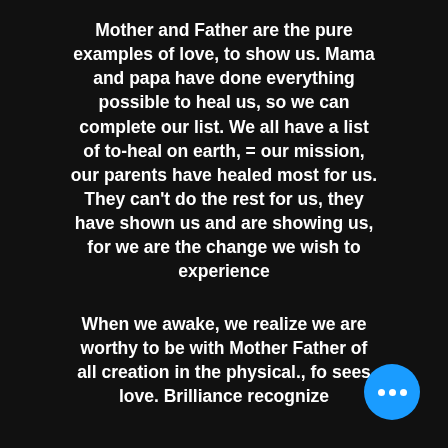Mother and Father are the pure examples of love, to show us. Mama and papa have done everything possible to heal us, so we can complete our list. We all have a list of to-heal on earth, = our mission, our parents have healed most for us. They can't do the rest for us, they have shown us and are showing us, for we are the change we wish to experience
When we awake, we realize we are worthy to be with Mother Father of all creation in the physical., fo sees love. Brilliance recognize